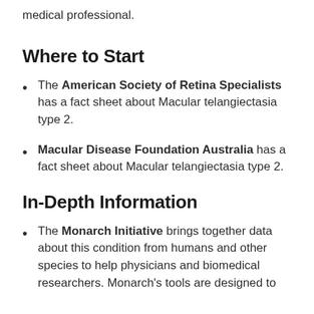medical professional.
Where to Start
The American Society of Retina Specialists has a fact sheet about Macular telangiectasia type 2.
Macular Disease Foundation Australia has a fact sheet about Macular telangiectasia type 2.
In-Depth Information
The Monarch Initiative brings together data about this condition from humans and other species to help physicians and biomedical researchers. Monarch's tools are designed to